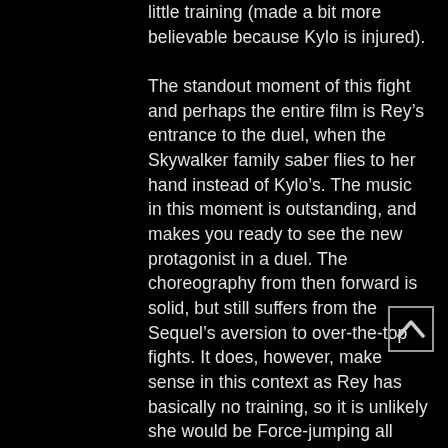little training (made a bit more believable because Kylo is injured).

The standout moment of this fight and perhaps the entire film is Rey’s entrance to the duel, when the Skywalker family saber flies to her hand instead of Kylo’s. The music in this moment is outstanding, and makes you ready to see the new protagonist in a duel. The choreography from then forward is solid, but still suffers from the Sequel’s aversion to over-the-top fights. It does, however, make sense in this context as Rey has basically no training, so it is unlikely she would be Force-jumping all over the place. Another great moment in the fight is Rey’s embracing of the Force, which plays to the theme of lightsaber dueling being heavily based on Force ability rather than raw melee talent. From then forward, it is Rey’s fight. She